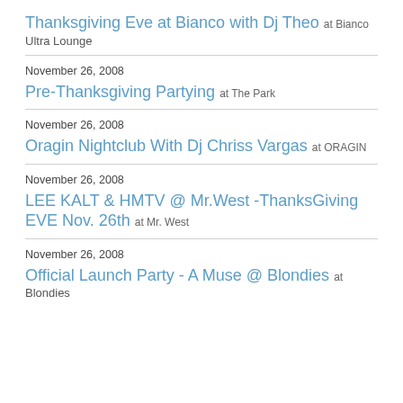Thanksgiving Eve at Bianco with Dj Theo at Bianco Ultra Lounge
November 26, 2008
Pre-Thanksgiving Partying at The Park
November 26, 2008
Oragin Nightclub With Dj Chriss Vargas at ORAGIN
November 26, 2008
LEE KALT & HMTV @ Mr.West -ThanksGiving EVE Nov. 26th at Mr. West
November 26, 2008
Official Launch Party - A Muse @ Blondies at Blondies